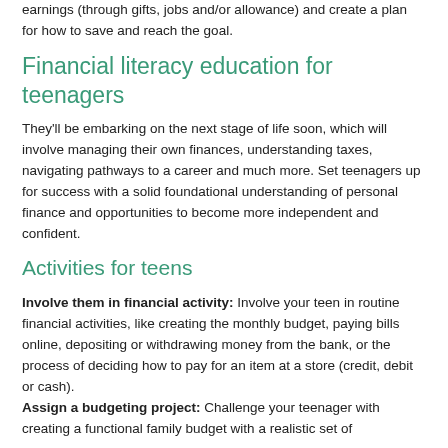earnings (through gifts, jobs and/or allowance) and create a plan for how to save and reach the goal.
Financial literacy education for teenagers
They'll be embarking on the next stage of life soon, which will involve managing their own finances, understanding taxes, navigating pathways to a career and much more. Set teenagers up for success with a solid foundational understanding of personal finance and opportunities to become more independent and confident.
Activities for teens
Involve them in financial activity: Involve your teen in routine financial activities, like creating the monthly budget, paying bills online, depositing or withdrawing money from the bank, or the process of deciding how to pay for an item at a store (credit, debit or cash).
Assign a budgeting project: Challenge your teenager with creating a functional family budget with a realistic set of